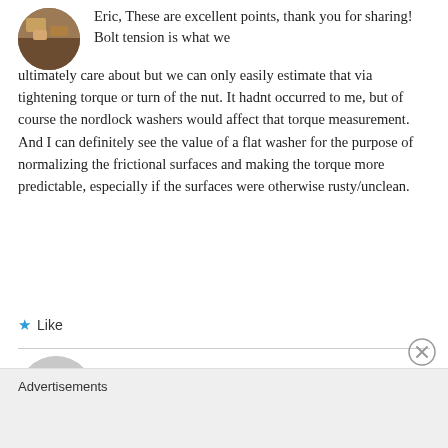Eric, These are excellent points, thank you for sharing! Bolt tension is what we ultimately care about but we can only easily estimate that via tightening torque or turn of the nut. It hadnt occurred to me, but of course the nordlock washers would affect that torque measurement. And I can definitely see the value of a flat washer for the purpose of normalizing the frictional surfaces and making the torque more predictable, especially if the surfaces were otherwise rusty/unclean.
★ Like
Martin Medved
JUNE 16, 2017 AT 1:33 AM
Advertisements